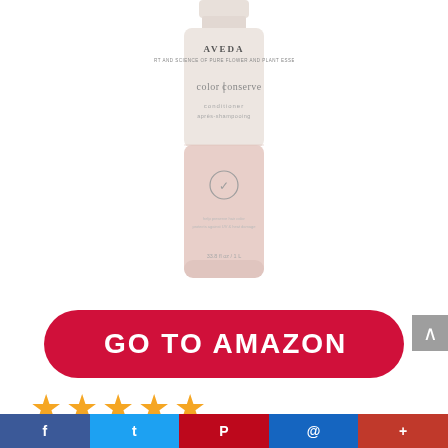[Figure (photo): Aveda color conserve conditioner bottle, light pink/beige color with AVEDA logo at top and 'color conserve conditioner' label text, round vegan symbol in center]
GO TO AMAZON
[Figure (other): 5 gold star rating icons]
Social sharing bar with Facebook, Twitter, Pinterest, Email, and more icons